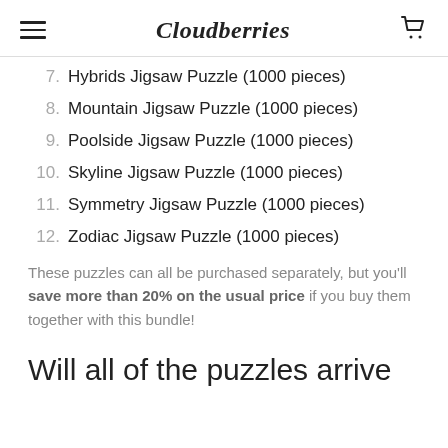Cloudberries
7. Hybrids Jigsaw Puzzle (1000 pieces)
8. Mountain Jigsaw Puzzle (1000 pieces)
9. Poolside Jigsaw Puzzle (1000 pieces)
10. Skyline Jigsaw Puzzle (1000 pieces)
11. Symmetry Jigsaw Puzzle (1000 pieces)
12. Zodiac Jigsaw Puzzle (1000 pieces)
These puzzles can all be purchased separately, but you'll save more than 20% on the usual price if you buy them together with this bundle!
Will all of the puzzles arrive